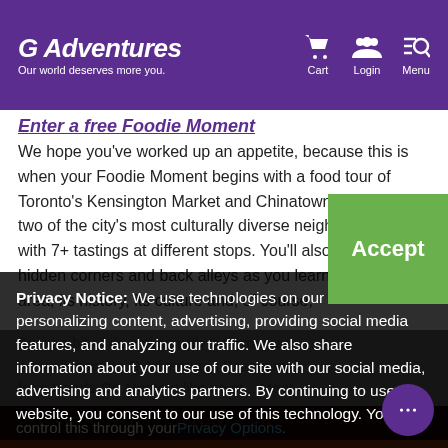G Adventures — Our world deserves more you. Cart | Login | Menu
Enter a free Foodie Moment
We hope you've worked up an appetite, because this is when your Foodie Moment begins with a food tour of Toronto's Kensington Market and Chinatown. Discover two of the city's most culturally diverse neighbourhoods with 7+ tastings at different stops. You'll also visit the hidden corners and back alleys as you learn about the area, its history, its culture and, of course,
Privacy Notice: We use technologies on our website for personalizing content, advertising, providing social media features, and analyzing our traffic. We also share information about your use of our site with our social media, advertising and analytics partners. By continuing to use this website, you consent to our use of this technology. You can control this through your Privacy Options.
Enjoy a bit of downtime with the group as we walk back to G Adventures Basecamp for a Hands-On Moment like no other. Meet local Toronto artist Andre Kan and, taking inspiratio...
4 days Toronto to Toronto · Sold Out